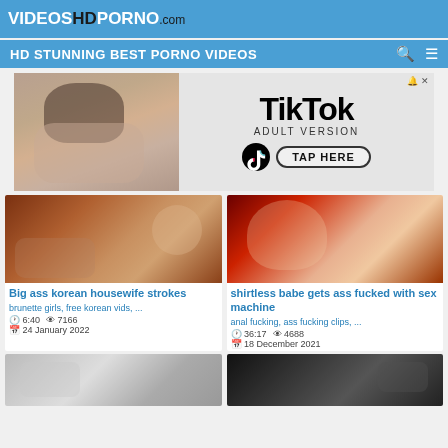VIDEOSHDPORNO.com
HD STUNNING BEST PORNO VIDEOS
[Figure (screenshot): TikTok Adult Version advertisement banner with TAP HERE button]
[Figure (photo): Video thumbnail for Big ass korean housewife strokes]
Big ass korean housewife strokes
brunette girls, free korean vids, ...
6:40  7166  24 January 2022
[Figure (photo): Video thumbnail for shirtless babe gets ass fucked with sex machine]
shirtless babe gets ass fucked with sex machine
anal fucking, ass fucking clips, ...
36:17  4688  18 December 2021
[Figure (photo): Video thumbnail bottom left]
[Figure (photo): Video thumbnail bottom right]